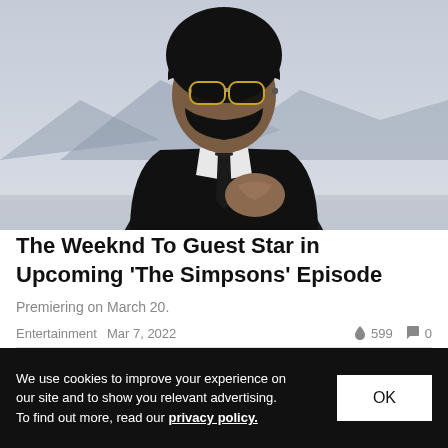[Figure (photo): Man in black suit and sunglasses with black tie, posed outdoors with mountains in background]
The Weeknd To Guest Star in Upcoming 'The Simpsons' Episode
Premiering on March 20.
Entertainment  Mar 7, 2022  🔥 599  💬 0
We use cookies to improve your experience on our site and to show you relevant advertising. To find out more, read our privacy policy.